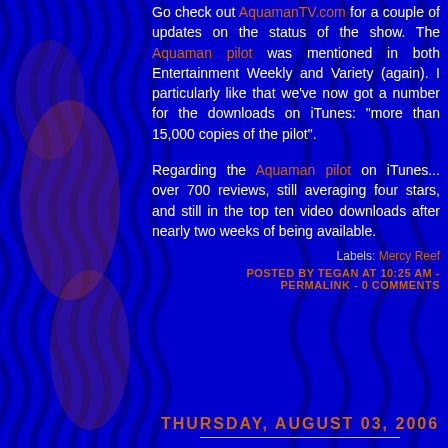Go check out AquamanTV.com for a couple of updates on the status of the show. The Aquaman pilot was mentioned in both Entertainment Weekly and Variety (again). I particularly like that we've now got a number for the downloads on iTunes: "more than 15,000 copies of the pilot".
Regarding the Aquaman pilot on iTunes... over 700 reviews, still averaging four stars, and still in the top ten video downloads after nearly two weeks of being available.
Labels: Mercy Reef
POSTED BY TEGAN AT 10:25 AM - PERMALINK - 0 COMMENTS
THURSDAY, AUGUST 03, 2006